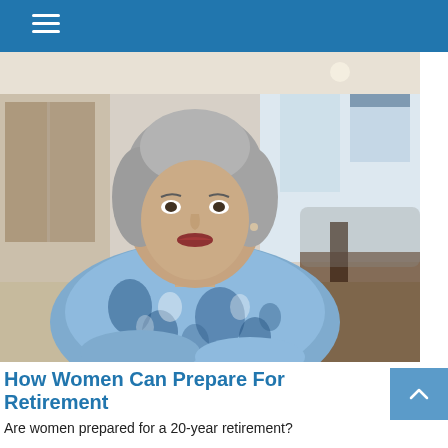[Figure (photo): Older woman with gray hair wearing a blue and white floral blouse, seated in a home interior with blurred background.]
How Women Can Prepare For Retirement
Are women prepared for a 20-year retirement?